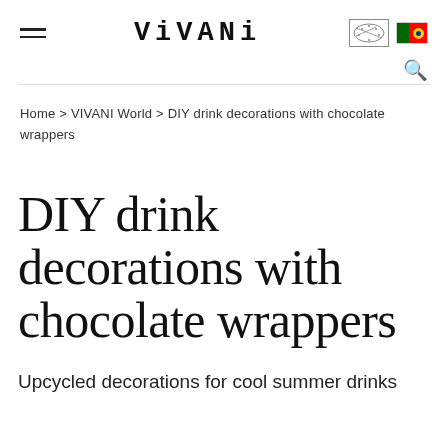VIVANI
Home > VIVANI World > DIY drink decorations with chocolate wrappers
DIY drink decorations with chocolate wrappers
Upcycled decorations for cool summer drinks